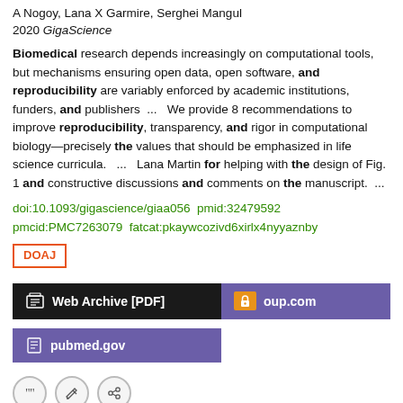A Nogoy, Lana X Garmire, Serghei Mangul
2020 GigaScience
Biomedical research depends increasingly on computational tools, but mechanisms ensuring open data, open software, and reproducibility are variably enforced by academic institutions, funders, and publishers ... We provide 8 recommendations to improve reproducibility, transparency, and rigor in computational biology—precisely the values that should be emphasized in life science curricula. ... Lana Martin for helping with the design of Fig. 1 and constructive discussions and comments on the manuscript. ...
doi:10.1093/gigascience/giaa056  pmid:32479592  pmcid:PMC7263079  fatcat:pkaywcozivd6xirlx4nyyaznby
DOAJ
Web Archive [PDF]
oup.com
pubmed.gov
Exchange of Clinical and Omics Data According to FAIR